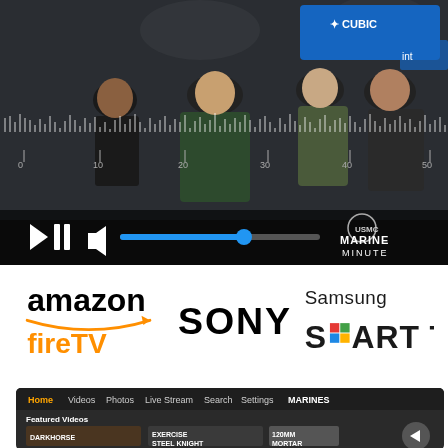[Figure (screenshot): Video player showing military personnel at an expo with CUBIC branding. Controls include play/pause, volume, a blue progress bar at about 62%, and a Marine Minute logo watermark. Waveform visible at top of video.]
[Figure (logo): Amazon Fire TV logo]
[Figure (logo): SONY logo]
[Figure (logo): Samsung Smart TV logo]
[Figure (screenshot): Marines app screenshot showing dark-themed navigation with Home (highlighted orange), Videos, Photos, Live Stream, Search, Settings, MARINES tabs. Featured Videos section shows three thumbnails: DARKHORSE, EXERCISE STEEL KNIGHT, 120MM MORTAR.]